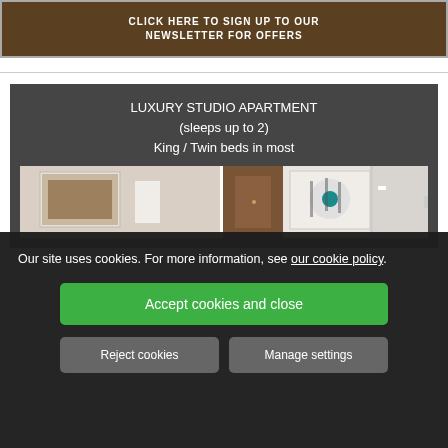[Figure (photo): Dark-toned banner/advertisement image with text overlay: 'CLICK HERE TO SIGN UP TO OUR NEWSLETTER FOR OFFERS']
LUXURY STUDIO APARTMENT
(sleeps up to 2)
King / Twin beds in most
[Figure (photo): Interior apartment photos showing artwork on walls, wardrobe, and living area]
Our site uses cookies. For more information, see our cookie policy.
Accept cookies and close
Reject cookies
Manage settings